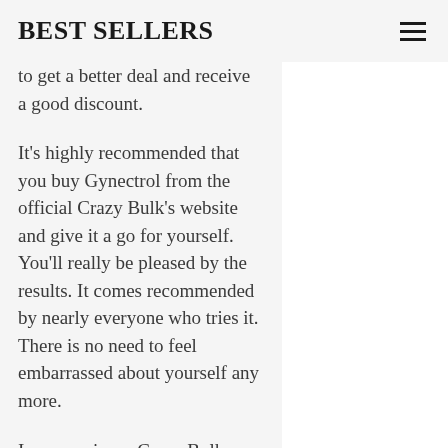BEST SELLERS
to get a better deal and receive a good discount.
It's highly recommended that you buy Gynectrol from the official Crazy Bulk's website and give it a go for yourself. You'll really be pleased by the results. It comes recommended by nearly everyone who tries it. There is no need to feel embarrassed about yourself any more.
In our reviews, Crazy Bulk Gynectrol is completely natural and safe to use with no side